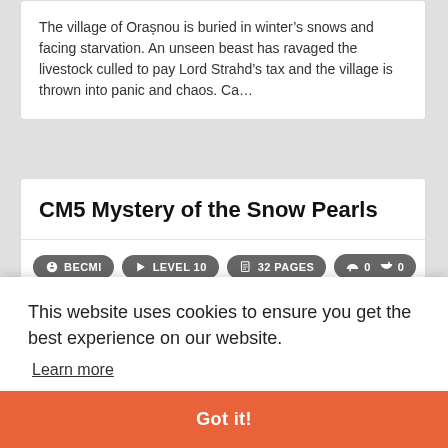The village of Orașnou is buried in winter's snows and facing starvation. An unseen beast has ravaged the livestock culled to pay Lord Strahd's tax and the village is thrown into panic and chaos. Ca…
CM5 Mystery of the Snow Pearls
BECMI  LEVEL 10  32 PAGES  0  0
One of four magical, snow white pearls protecting Tarylon has been
This website uses cookies to ensure you get the best experience on our website.
Learn more
Got it!